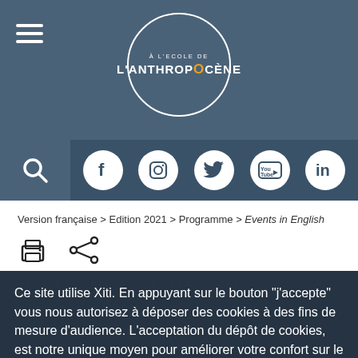À L'ÉCOLE DE L'ANTHROPOCÈNE
[Figure (screenshot): Website header with hamburger menu icon on left, circular logo in center reading 'À L'ECOLE DE L'ANTHROPOCÈNE', and social media icons bar below (Facebook, Instagram, Twitter, YouTube, LinkedIn)]
Version française > Edition 2021 > Programme > Events in English
[Figure (infographic): Print icon and share icon]
DÉBATS / CONFÉRENCES / ENTRETIENS,
Ce site utilise Xiti. En appuyant sur le bouton "j'accepte" vous nous autorisez à déposer des cookies à des fins de mesure d'audience. L'acceptation du dépôt de cookies, est notre unique moyen pour améliorer votre confort sur le site.
J'accepte
Je refuse
LONGING FOR SPACE